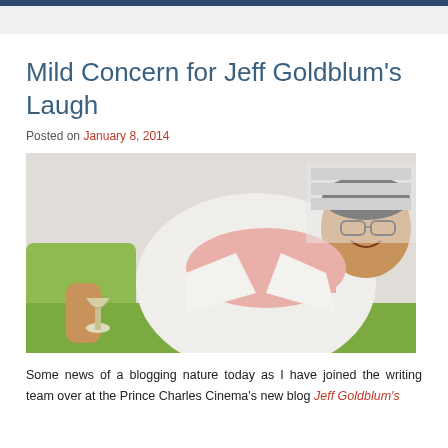Mild Concern for Jeff Goldblum's Laugh
Posted on January 8, 2014
[Figure (photo): Photo of Jeff Goldblum smiling, wearing glasses, a white blazer and a pink scarf, sitting on a green chair and holding a glass of wine.]
Some news of a blogging nature today as I have joined the writing team over at the Prince Charles Cinema's new blog Jeff Goldblum's